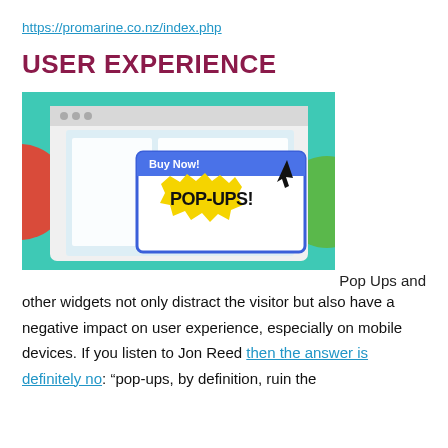https://promarine.co.nz/index.php
USER EXPERIENCE
[Figure (illustration): An illustration of a browser window on a teal background with red and green circles on the sides. A pop-up dialog with a blue title bar labeled 'Buy Now!' contains a yellow burst graphic with bold black text 'POP-UPS!' and a mouse cursor arrow pointing at the top-right corner of the pop-up.]
Pop Ups and other widgets not only distract the visitor but also have a negative impact on user experience, especially on mobile devices. If you listen to Jon Reed then the answer is definitely no: “pop-ups, by definition, ruin the